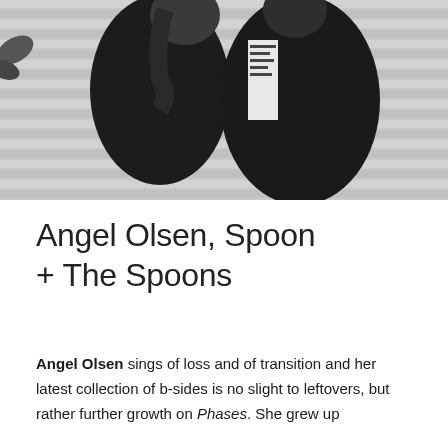[Figure (photo): Black and white photograph of two people standing together, both wearing dark coats. One person has a scarf with a graphic print. They are standing in front of a light-colored wall.]
Angel Olsen, Spoon + The Spoons
Angel Olsen sings of loss and of transition and her latest collection of b-sides is no slight to leftovers, but rather further growth on Phases. She grew up